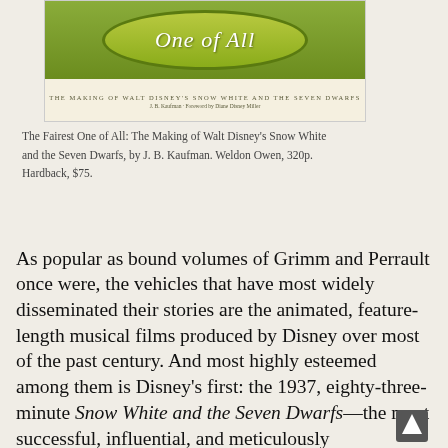[Figure (illustration): Book cover of 'The Fairest One of All: The Making of Walt Disney's Snow White and the Seven Dwarfs' by J.B. Kaufman, with a green oval logo and cream background with subtitle text.]
The Fairest One of All: The Making of Walt Disney's Snow White and the Seven Dwarfs, by J. B. Kaufman. Weldon Owen, 320p. Hardback, $75.
As popular as bound volumes of Grimm and Perrault once were, the vehicles that have most widely disseminated their stories are the animated, feature-length musical films produced by Disney over most of the past century. And most highly esteemed among them is Disney's first: the 1937, eighty-three-minute Snow White and the Seven Dwarfs—the most successful, influential, and meticulously collaborative of them all—which is celebrating its seventy-fifth birthday this year. (Indeed, concepts and realized scenes cut from Snow White were used in subsequent Disney features at least throughthe 1959 Sleeping Beauty.) Prior to home-media technology